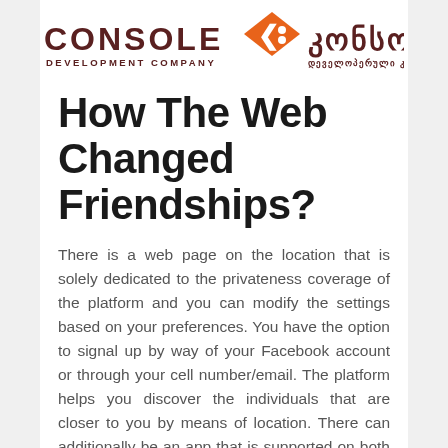[Figure (logo): Console Development Company logo with Georgian text on the right, orange diamond/bracket icon in center]
How The Web Changed Friendships?
There is a web page on the location that is solely dedicated to the privateness coverage of the platform and you can modify the settings based on your preferences. You have the option to signal up by way of your Facebook account or through your cell number/email. The platform helps you discover the individuals that are closer to you by means of location. There can additionally be an app that is supported on both Android and iOS interfaces. The website doesn't save